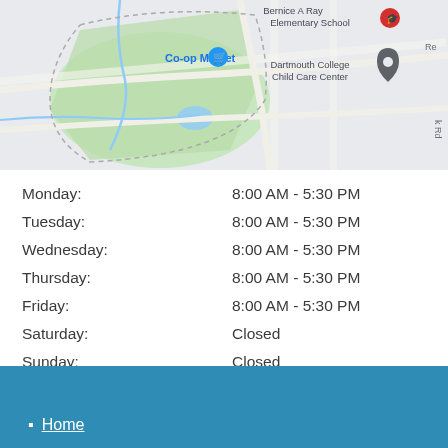[Figure (map): Google Maps view showing Co-op Market, Bernice A Ray Elementary School, and Dartmouth College Child Care Center in a neighborhood with green park areas and roads.]
| Day | Hours |
| --- | --- |
| Monday: | 8:00 AM - 5:30 PM |
| Tuesday: | 8:00 AM - 5:30 PM |
| Wednesday: | 8:00 AM - 5:30 PM |
| Thursday: | 8:00 AM - 5:30 PM |
| Friday: | 8:00 AM - 5:30 PM |
| Saturday: | Closed |
| Sunday: | Closed |
Home